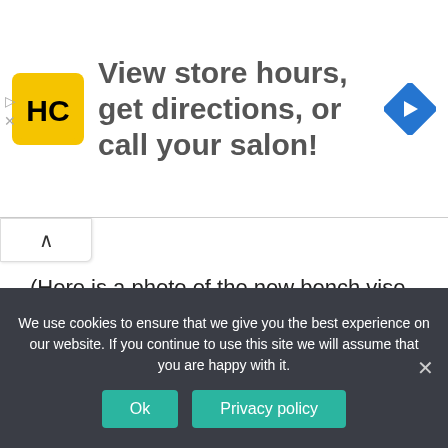[Figure (infographic): Advertisement banner with HC logo (yellow square with black HC letters), text 'View store hours, get directions, or call your salon!', and a blue diamond-shaped direction arrow icon on the right. Small play and close controls on the left edge.]
(Here is a photo of the new bench vise, which I bought accidentally at the flea market in Novopodrezkovo)
As a result of milling we got the following adapters:
[Figure (photo): Black redacted/censored image bar]
We use cookies to ensure that we give you the best experience on our website. If you continue to use this site we will assume that you are happy with it.